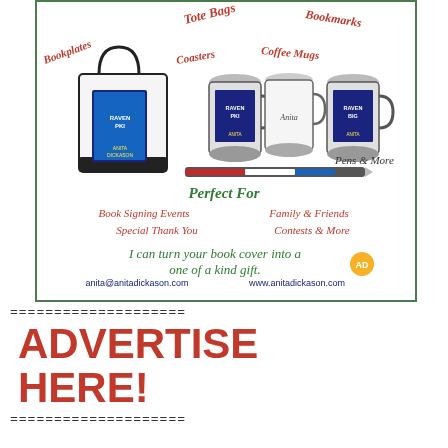[Figure (illustration): Advertisement for Anita Dickason custom book cover merchandise: tote bags, bookplates, coasters, coffee mugs, bookmarks, pens and more. Shows images of tote bag and three coffee mugs. Text reads: Perfect For Book Signing Events, Family & Friends, Special Thank You, Contests & More. I can turn your book cover into a one of a kind gift. Contact: anita@anitadickason.com, www.anitadickason.com]
===================
ADVERTISE HERE!
===================